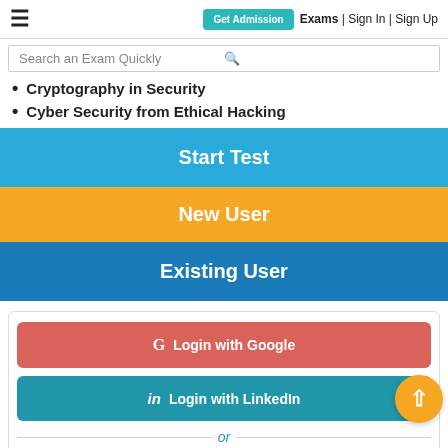≡  Get Admission  Exams | Sign In | Sign Up
Search an Exam Quickly
Cryptography in Security
Cyber Security from Ethical Hacking
Start Test
New User
Existing User
G  Login with Google
in  Login with LinkedIn
or